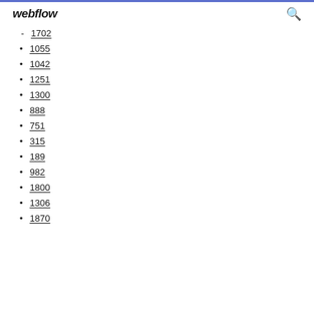webflow
1702
1055
1042
1251
1300
888
751
315
189
982
1800
1306
1870